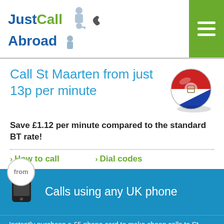JustCall Abroad
Call St Maarten from just 13p per minute
Save £1.12 per minute compared to the standard BT rate!
How to call
Dial codes
Calls using any UK phone
Instantly purchase a £5 phone card to make cheap calls to St Maarten from any phone